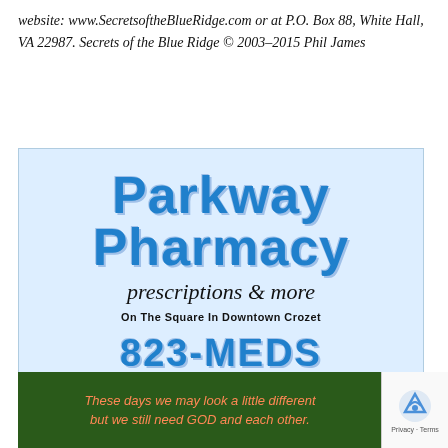website: www.SecretsoftheBlueRidge.com or at P.O. Box 88, White Hall, VA 22987. Secrets of the Blue Ridge © 2003–2015 Phil James
[Figure (illustration): Parkway Pharmacy advertisement with light blue background. Large blue bold text reads 'Parkway Pharmacy', italic serif text reads 'prescriptions & more', small caps text reads 'On The Square In Downtown Crozet', large blue bold text reads '823-MEDS'.]
[Figure (photo): Green background image with orange italic text reading 'These days we may look a little differently but we still need GOD and each other.' Partially obscured by reCAPTCHA widget.]